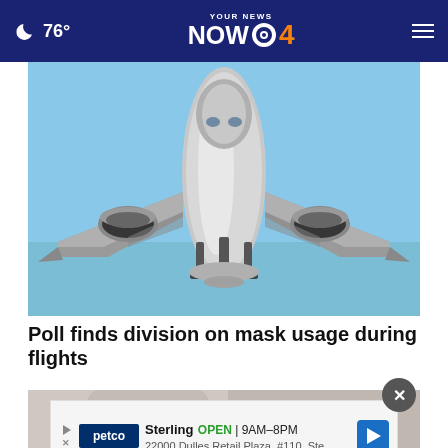76° YOUR NEWS NOW 4
[Figure (photo): A commercial passenger airplane photographed from below against a clear blue sky, showing the front nose, two jet engines on the wings, and landing gear deployed.]
Poll finds division on mask usage during flights
[Figure (photo): Partial view of a person, partially obscured by an advertisement overlay.]
Sterling OPEN | 9AM–8PM
22000 Dulles Retail Plaza, #110, Ste